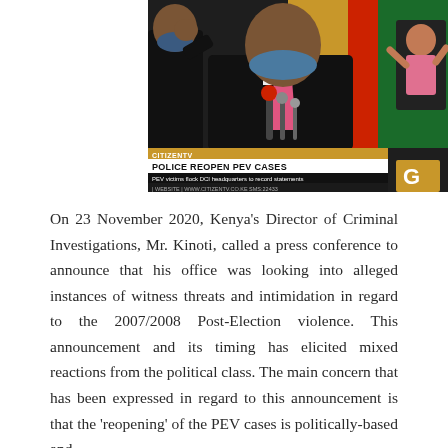[Figure (screenshot): Citizen TV news screenshot showing a man in a dark suit and pink tie speaking at a press conference, with chyron reading 'POLICE REOPEN PEV CASES' and subtitle 'PEV victims flock DCI headquarters to record statements'. Website shown: WWW.CITIZENTV.CO.KE, SMS: 22433.]
On 23 November 2020, Kenya's Director of Criminal Investigations, Mr. Kinoti, called a press conference to announce that his office was looking into alleged instances of witness threats and intimidation in regard to the 2007/2008 Post-Election violence. This announcement and its timing has elicited mixed reactions from the political class. The main concern that has been expressed in regard to this announcement is that the 'reopening' of the PEV cases is politically-based and